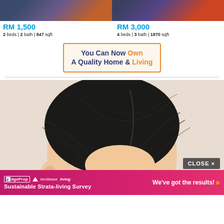[Figure (photo): Property listing image left - circuit board/electronics themed]
RM 1,500
2 beds | 2 bath | 847 sqft
[Figure (photo): Property listing image right - circuit board/electronics themed]
RM 3,000
4 beds | 3 bath | 1870 sqft
[Figure (illustration): Advertisement banner: 'You Can Now Own A Quality Home & Living' with orange border on cream background]
[Figure (photo): Portrait photo of a person showing the top/side of their head with dark combed hair against a light beige background]
CLOSE ×
[Figure (infographic): Bottom pink/magenta bar with EdgeProp and lendlease living logos, 'Sustainable Strata-living Survey' text, and 'We've got the results!' with orange chevrons]